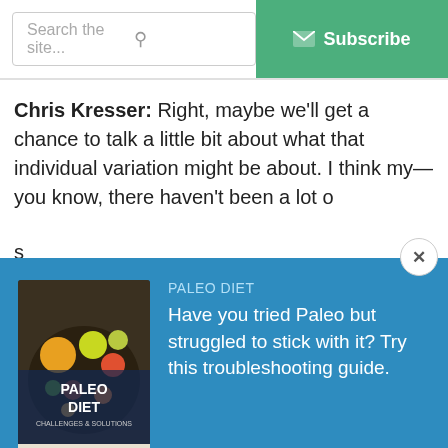[Figure (screenshot): Search bar with placeholder 'Search the site...' and a green Subscribe button with envelope icon]
Chris Kresser: Right, maybe we'll get a chance to talk a little bit about what that individual variation might be about. I think my—you know, there haven't been a lot o s
[Figure (infographic): Blue popup overlay with Paleo Diet book cover image on the left and promotional text on the right reading 'PALEO DIET - Have you tried Paleo but struggled to stick with it? Try this troubleshooting guide.' An email input field reads 'Your email address' and a green 'Download Now' button is at the bottom. A close (X) button appears at the top right.]